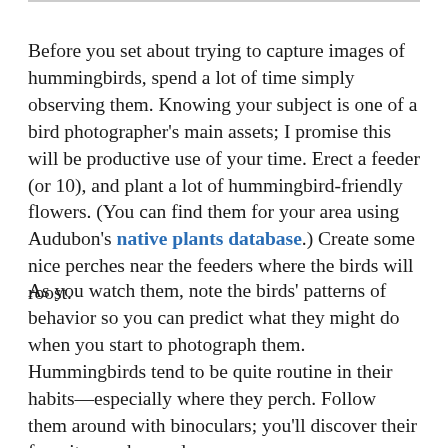Before you set about trying to capture images of hummingbirds, spend a lot of time simply observing them. Knowing your subject is one of a bird photographer's main assets; I promise this will be productive use of your time. Erect a feeder (or 10), and plant a lot of hummingbird-friendly flowers. (You can find them for your area using Audubon's native plants database.) Create some nice perches near the feeders where the birds will roost.
As you watch them, note the birds' patterns of behavior so you can predict what they might do when you start to photograph them. Hummingbirds tend to be quite routine in their habits—especially where they perch. Follow them around with binoculars; you'll discover their favorite perches and...